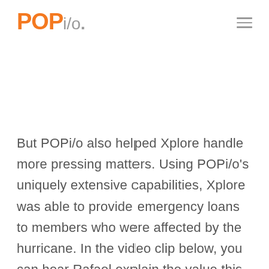POPi/o
But POPi/o also helped Xplore handle more pressing matters. Using POPi/o's uniquely extensive capabilities, Xplore was able to provide emergency loans to members who were affected by the hurricane. In the video clip below, you can hear Rafael explain the value this service provided during his members'